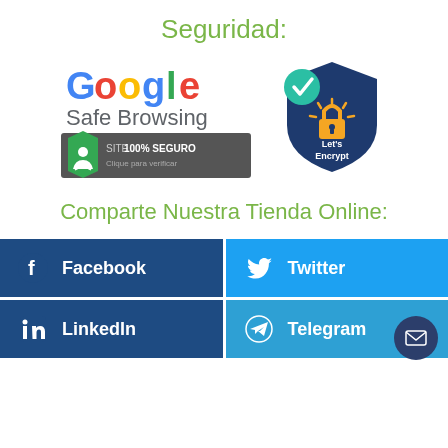Seguridad:
[Figure (logo): Google Safe Browsing logo with green shield and text 'SITE 100% SEGURO Clique para verificar']
[Figure (logo): Let's Encrypt logo: dark blue shield with teal checkmark and padlock, text Let's Encrypt]
Comparte Nuestra Tienda Online:
[Figure (infographic): Social media share buttons: Facebook, Twitter, LinkedIn, Telegram]